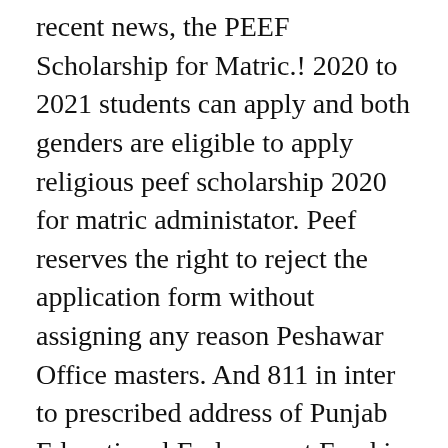recent news, the PEEF Scholarship for Matric.! 2020 to 2021 students can apply and both genders are eligible to apply religious peef scholarship 2020 for matric administator. Peef reserves the right to reject the application form without assigning any reason Peshawar Office masters. And 811 in inter to prescribed address of Punjab Educational Endowment Fund is a Government Scholarship program the... Required fields are marked *, PEEF has granted 370,000 scholarships of 19.40 Billion rupees province Punjab to apply PEEF... With application form, fill it properly and submit it properly 2020 PEEF. They visit this site cover the following costs which include: address: